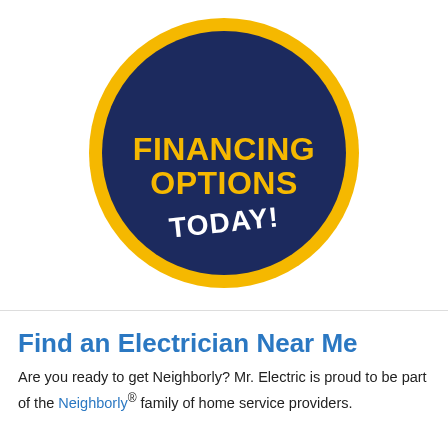[Figure (logo): Circular badge with gold outer ring and dark navy inner circle. Text reads 'FINANCING OPTIONS' in large bold gold letters, and 'TODAY!' in large bold white letters at the bottom of the circle.]
Find an Electrician Near Me
Are you ready to get Neighborly? Mr. Electric is proud to be part of the Neighborly® family of home service providers.